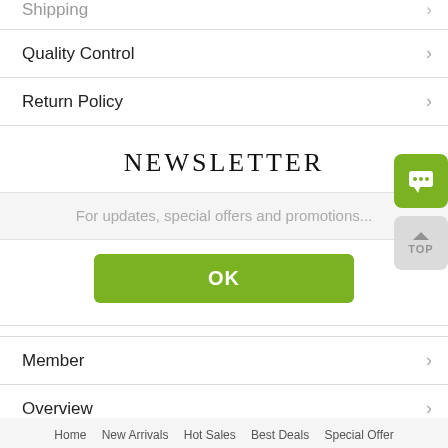Shipping
Quality Control
Return Policy
NEWSLETTER
For updates, special offers and promotions...
OK
Member
Overview
Home   New Arrivals   Hot Sales   Best Deals   Special Offer